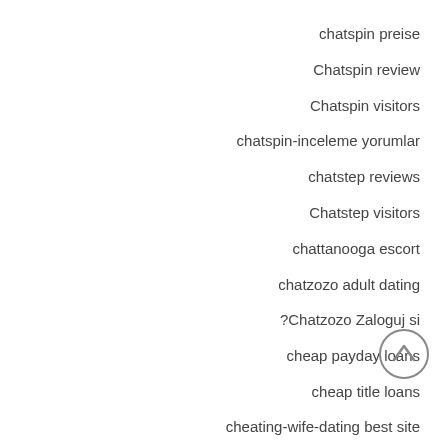chatspin preise
Chatspin review
Chatspin visitors
chatspin-inceleme yorumlar
chatstep reviews
Chatstep visitors
chattanooga escort
chatzozo adult dating
?Chatzozo Zaloguj si
cheap payday loans
cheap title loans
cheating-wife-dating best site